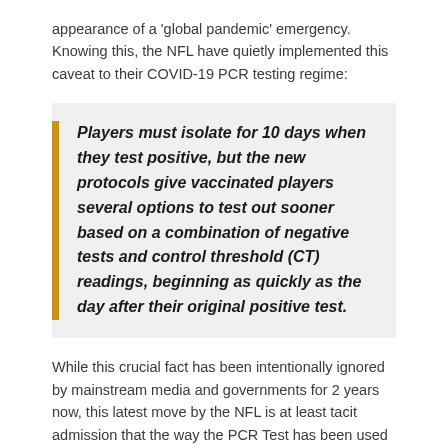appearance of a 'global pandemic' emergency. Knowing this, the NFL have quietly implemented this caveat to their COVID-19 PCR testing regime:
Players must isolate for 10 days when they test positive, but the new protocols give vaccinated players several options to test out sooner based on a combination of negative tests and control threshold (CT) readings, beginning as quickly as the day after their original positive test.
While this crucial fact has been intentionally ignored by mainstream media and governments for 2 years now, this latest move by the NFL is at least tacit admission that the way the PCR Test has been used since the beginning of the alleged 'global pandemic' – has been fraudulent.
It is only a question of time now before the sacred COVID